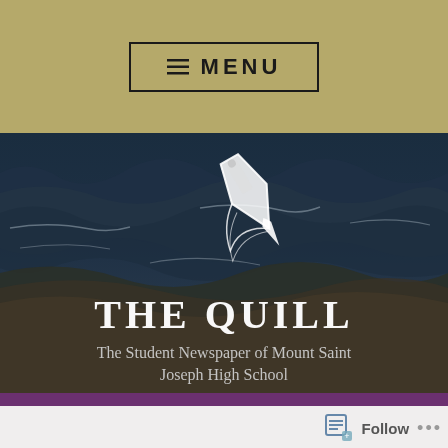≡ MENU
[Figure (screenshot): Hero banner with dark ocean wave background, white quill-and-pen icon, title 'THE QUILL', subtitle 'The Student Newspaper of Mount Saint Joseph High School']
THE QUILL
The Student Newspaper of Mount Saint Joseph High School
[Figure (other): Follow widget with grid/reader icon, Follow text, and three-dot menu button]